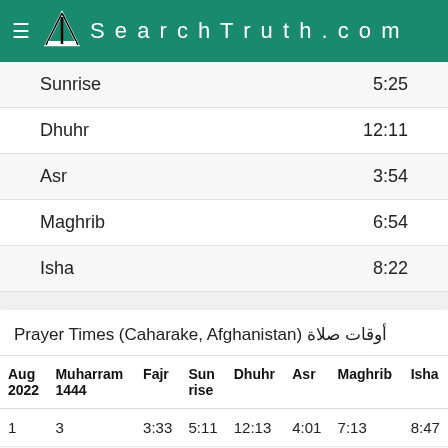SearchTruth.com
| Prayer | Time |
| --- | --- |
| Sunrise | 5:25 |
| Dhuhr | 12:11 |
| Asr | 3:54 |
| Maghrib | 6:54 |
| Isha | 8:22 |
Prayer Times (Caharake, Afghanistan) أوقات صلاة
| Aug 2022 | Muharram 1444 | Fajr | Sunrise | Dhuhr | Asr | Maghrib | Isha |
| --- | --- | --- | --- | --- | --- | --- | --- |
| 1 | 3 | 3:33 | 5:11 | 12:13 | 4:01 | 7:13 | 8:47 |
| 2 | 4 | 3:35 | 5:12 | 12:13 | 4:01 | 7:13 | 8:46 |